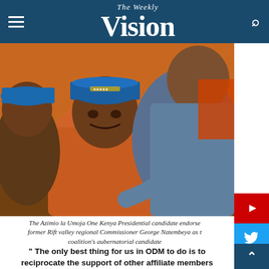The Weekly Vision
[Figure (photo): The Azimio la Umoja One Kenya Presidential candidate endorsing former Rift Valley regional Commissioner George Natembeya as the coalition's gubernatorial candidate. Two men are pictured, one wearing an orange shirt and blue cap, leaning close together.]
The Azimio la Umoja One Kenya Presidential candidate endorse former Rift valley regional Commissioner George Natembeya as t coalition's gubernatorial candidate
" The only best thing for us in ODM to do is to reciprocate the support of other affiliate members supporting Baba for the Presidency. In this case Mr Natembeya remains our candidate for Trans Nzoi Moses Ainea Wanjala Masinde, Endebes constituency parliamentary aspirant